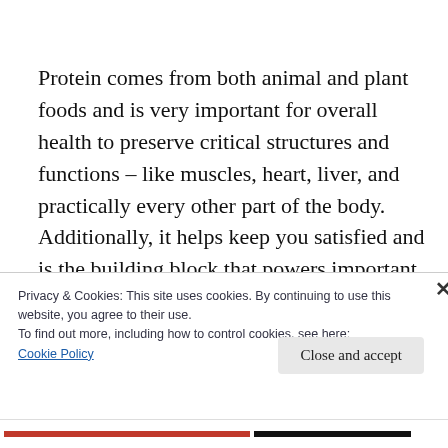Protein comes from both animal and plant foods and is very important for overall health to preserve critical structures and functions – like muscles, heart, liver, and practically every other part of the body.  Additionally, it helps keep you satisfied and is the building block that powers important chemical reactions in the body. Consuming enough protein every day
Privacy & Cookies: This site uses cookies. By continuing to use this website, you agree to their use.
To find out more, including how to control cookies, see here:
Cookie Policy
Close and accept